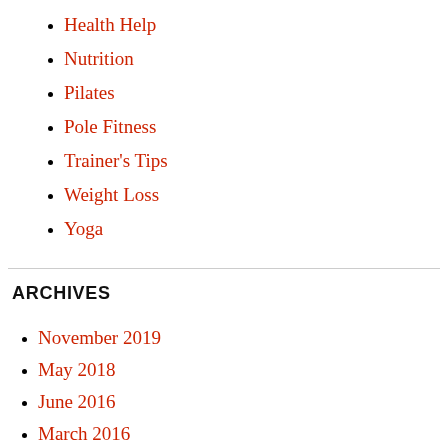Health Help
Nutrition
Pilates
Pole Fitness
Trainer's Tips
Weight Loss
Yoga
ARCHIVES
November 2019
May 2018
June 2016
March 2016